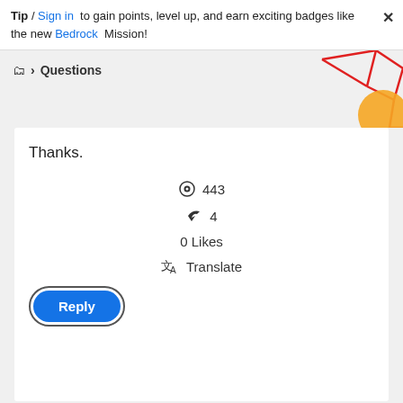Tip / Sign in to gain points, level up, and earn exciting badges like the new Bedrock Mission!
Questions
Thanks.
443
4
0 Likes
Translate
Reply
Accepted Solution